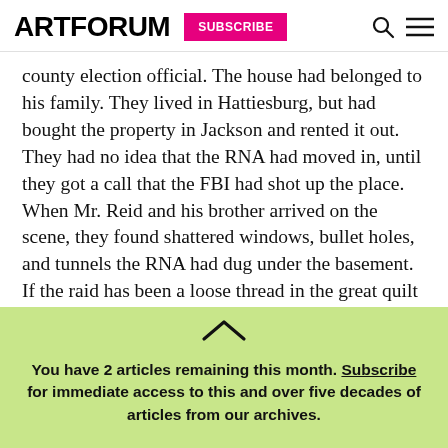ARTFORUM | SUBSCRIBE
county election official. The house had belonged to his family. They lived in Hattiesburg, but had bought the property in Jackson and rented it out. They had no idea that the RNA had moved in, until they got a call that the FBI had shot up the place. When Mr. Reid and his brother arrived on the scene, they found shattered windows, bullet holes, and tunnels the RNA had dug under the basement. If the raid has been a loose thread in the great quilt of national history, here it felt like connective tissue. In sharing
You have 2 articles remaining this month. Subscribe for immediate access to this and over five decades of articles from our archives.